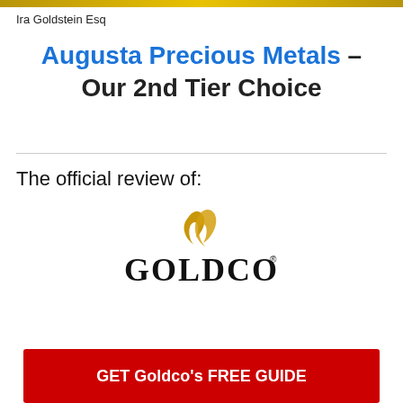Ira Goldstein Esq
Augusta Precious Metals – Our 2nd Tier Choice
The official review of:
[Figure (logo): Goldco logo with gold flame swoosh above stylized GOLDCO text with registered trademark symbol]
GET Goldco's FREE GUIDE